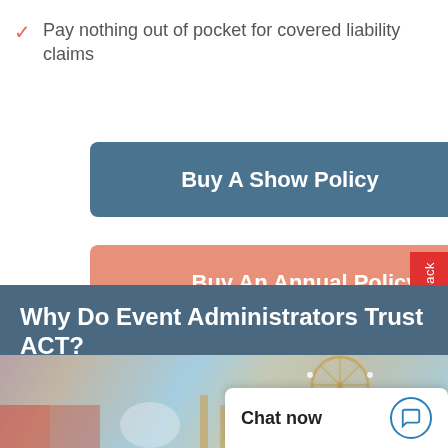Pay nothing out of pocket for covered liability claims
Buy A Show Policy
Buy An Annual Policy
Why Do Event Administrators Trust ACT?
[Figure (photo): Photo of children enjoying a fairground/carnival with rides]
Chat now